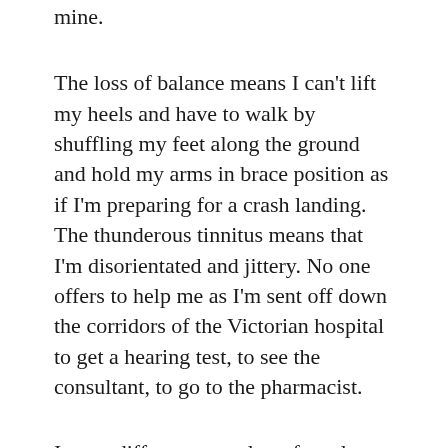mine.
The loss of balance means I can't lift my heels and have to walk by shuffling my feet along the ground and hold my arms in brace position as if I'm preparing for a crash landing. The thunderous tinnitus means that I'm disorientated and jittery. No one offers to help me as I'm sent off down the corridors of the Victorian hospital to get a hearing test, to see the consultant, to go to the pharmacist.
I see a different consultant from last week and he resembles a Harry Potter villain: tall, yellowing skin and spectacles